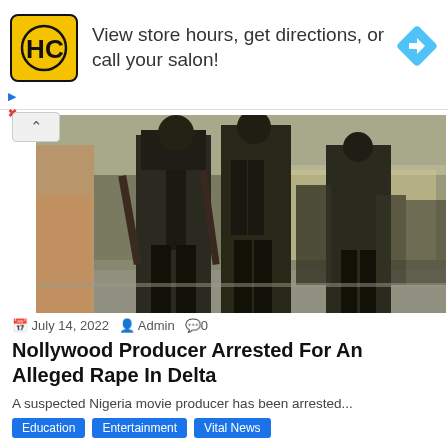[Figure (infographic): Advertisement banner: HC logo (yellow square with HC text), text 'View store hours, get directions, or call your salon!', blue diamond arrow icon on right]
[Figure (photo): Photo of armed security personnel in dark military uniforms walking on a road, several officers visible carrying rifles]
July 14, 2022  Admin  0
Nollywood Producer Arrested For An Alleged Rape In Delta
A suspected Nigeria movie producer has been arrested...
Education  Entertainment  Vital News
Business & Finance